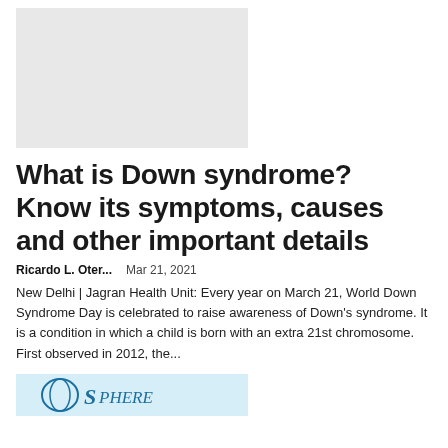[Figure (photo): Light gray placeholder image rectangle]
What is Down syndrome? Know its symptoms, causes and other important details
Ricardo L. Oter...    Mar 21, 2021
New Delhi | Jagran Health Unit: Every year on March 21, World Down Syndrome Day is celebrated to raise awareness of Down's syndrome. It is a condition in which a child is born with an extra 21st chromosome. First observed in 2012, the...
[Figure (logo): Sphere logo on light blue background at bottom]